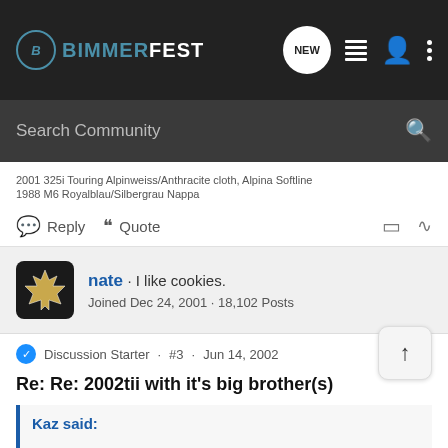BIMMERFEST
Search Community
2001 325i Touring Alpinweiss/Anthracite cloth, Alpina Softline
1988 M6 Royalblau/Silbergrau Nappa
Reply   Quote
nate · I like cookies.
Joined Dec 24, 2001 · 18,102 Posts
Discussion Starter · #3 · Jun 14, 2002
Re: Re: 2002tii with it's big brother(s)
Kaz said:
Well, first, the 02 is 2.0l vs 1.8l in E30 and 1.9l in E36. Also, the